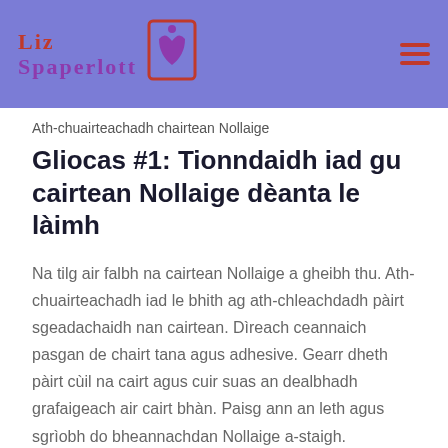LizSpaperlot
Ath-chuairteachadh chairtean Nollaige
Gliocas #1: Tionndaidh iad gu cairtean Nollaige dèanta le làimh
Na tilg air falbh na cairtean Nollaige a gheibh thu. Ath-chuairteachadh iad le bhith ag ath-chleachdadh pàirt sgeadachaidh nan cairtean. Dìreach ceannaich pasgan de chairt tana agus adhesive. Gearr dheth pàirt cùil na cairt agus cuir suas an dealbhadh grafaigeach air cairt bhàn. Paisg ann an leth agus sgrìobh do bheannachdan Nollaige a-staigh.